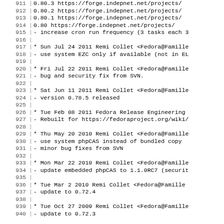Code/changelog listing lines 911-940 from a software package changelog
911   0.80.3 https://forge.indepnet.net/projects/
912   0.80.2 https://forge.indepnet.net/projects/
913   0.80.1 https://forge.indepnet.net/projects/
914   0.80    https://forge.indepnet.net/projects/
915 - increase cron run frequency (3 tasks each 3
916
917 * Sun Jul 24 2011 Remi Collet <Fedora@Famille
918 - use system EZC only if available (not in EL
919
920 * Fri Jul 22 2011 Remi Collet <Fedora@Famille
921 - bug and security fix from SVN.
922
923 * Sat Jun 11 2011 Remi Collet <Fedora@Famille
924 - version 0.78.5 released
925
926 * Tue Feb 08 2011 Fedora Release Engineering
927 - Rebuilt for https://fedoraproject.org/wiki/
928
929 * Thu May 20 2010 Remi Collet <Fedora@Famille
930 - use system phpCAS instead of bundled copy
931 - minor bug fixes from SVN
932
933 * Mon Mar 22 2010 Remi Collet <Fedora@Famille
934 - update embedded phpCAS to 1.1.0RC7 (securit
935
936 * Tue Mar  2 2010 Remi Collet <Fedora@Famille
937 - update to 0.72.4
938
939 * Tue Oct 27 2009 Remi Collet <Fedora@Famille
940 - update to 0.72.3